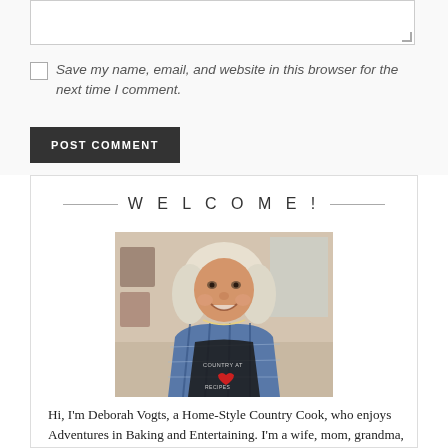[textarea input field]
Save my name, email, and website in this browser for the next time I comment.
POST COMMENT
WELCOME!
[Figure (photo): A smiling woman with light gray-blonde hair wearing a blue plaid shirt and dark apron that reads 'COUNTRY AT ... RECIPES' with a red heart, photographed in a kitchen setting.]
Hi, I'm Deborah Vogts, a Home-Style Country Cook, who enjoys Adventures in Baking and Entertaining. I'm a wife, mom, grandma, recipe blogger, lover of food, baker, and